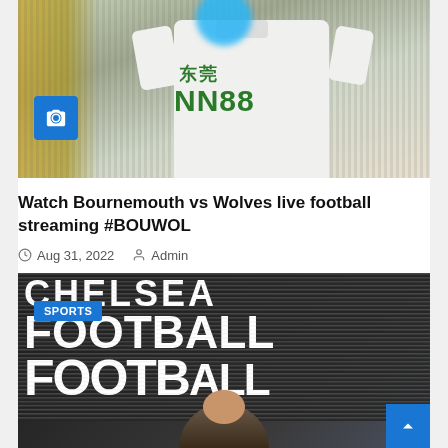[Figure (photo): Top portion of a football/soccer article card showing a player in a white Newcastle United jersey with green sponsor text (NUNN88/similar), with a blurred blue circle logo at top and yellow background blur on left, and a camera badge icon overlay.]
Watch Bournemouth vs Wolves live football streaming #BOUWOL
Aug 31, 2022  Admin
[Figure (photo): Chelsea Football Club signage reading CHELSEA FOOTBALL CLUB in large white letters on a dark striped board, with a person (man) visible in lower portion looking up, and a SPORTS badge in upper left corner.]